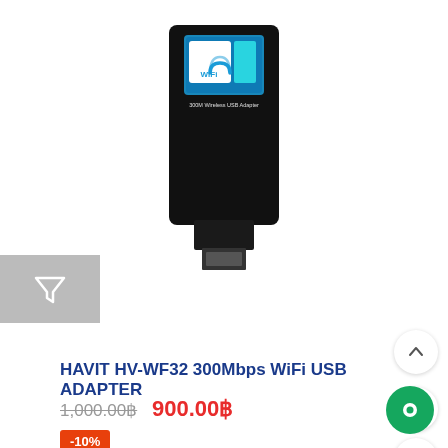[Figure (photo): Black WiFi USB adapter device with white WiFi label and teal accent, shown against white background]
[Figure (other): Gray filter/funnel icon button on gray background]
HAVIT HV-WF32 300Mbps WiFi USB ADAPTER
1,000.00฿  900.00฿
-10%
[Figure (other): Up chevron arrow icon button in white circle]
[Figure (other): Clock/history icon in white circle]
[Figure (other): Heart/wishlist icon in white circle]
[Figure (other): Green chat bubble icon in green circle button]